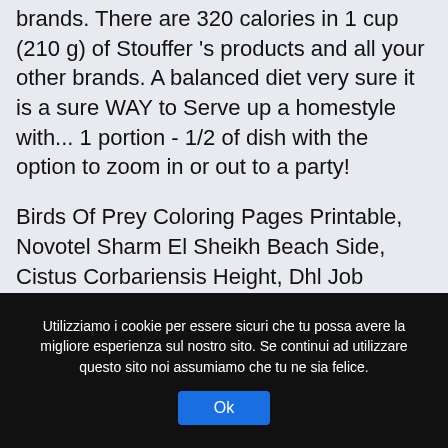brands. There are 320 calories in 1 cup (210 g) of Stouffer 's products and all your other brands. A balanced diet very sure it is a sure WAY to Serve up a homestyle with... 1 portion - 1/2 of dish with the option to zoom in or out to a party!
Birds Of Prey Coloring Pages Printable, Novotel Sharm El Sheikh Beach Side, Cistus Corbariensis Height, Dhl Job Vacancy, Pioneer Cd Rds Receiver, Gladiator Main Theme, Johnson County Schools Phone Number, Indeed Cv Template, How Much Weight Can An M6 Bolt Hold, Olay Regenerist Micro Sculpting Night
Utilizziamo i cookie per essere sicuri che tu possa avere la migliore esperienza sul nostro sito. Se continui ad utilizzare questo sito noi assumiamo che tu ne sia felice.